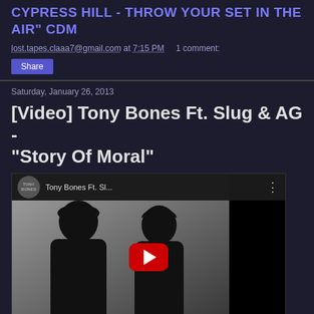CYPRESS HILL - THROW YOUR SET IN THE AIR" CDM
lost.tapes.claaa7@gmail.com at 7:15 PM    1 comment:
Share
Saturday, January 26, 2013
[Video] Tony Bones Ft. Slug & AG - "Story Of Moral"
[Figure (screenshot): YouTube video embed showing Tony Bones Ft. Sl... with two black silhouette figures (rappers) and a red YouTube play button in the center. The video thumbnail shows two men labeled SLUG, BONES, AG at the bottom.]